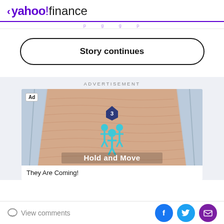< yahoo!finance
Story continues
ADVERTISEMENT
[Figure (screenshot): Mobile game advertisement showing 3 blue cartoon figures walking on a sandy textured road with 'Hold and Move' text overlay. Ad badge in top-left corner.]
They Are Coming!
View comments